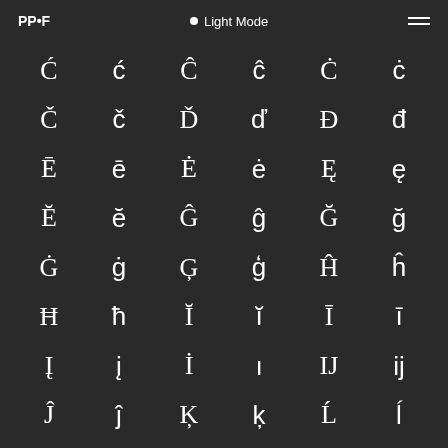PP•F   • Light Mode   ≡
[Figure (other): Grid of Latin extended characters with diacritics: Ć ć Ĉ ĉ Ċ ċ / Č č Ď ď Đ đ / Ē ē Ė ė Ę ę / Ĕ ĕ Ĝ ĝ Ğ ğ / Ġ ġ Ģ ģ Ĥ ĥ / Ħ ħ Ĭ ĭ Ī ī / Į į İ ı IJ ij / Ĵ ĵ Ķ ķ Ĺ ĺ]